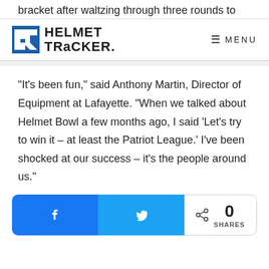bracket after waltzing through three rounds to
HELMET TRACKER — MENU
“It’s been fun,” said Anthony Martin, Director of Equipment at Lafayette. “When we talked about Helmet Bowl a few months ago, I said ‘Let’s try to win it – at least the Patriot League.’ I’ve been shocked at our success – it’s the people around us.”
[Figure (infographic): Social share buttons: Facebook (blue), Twitter (blue), and a share count showing 0 SHARES]